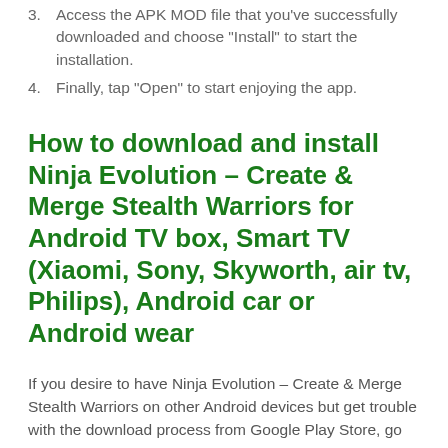3. Access the APK MOD file that you've successfully downloaded and choose "Install" to start the installation.
4. Finally, tap "Open" to start enjoying the app.
How to download and install Ninja Evolution – Create & Merge Stealth Warriors for Android TV box, Smart TV (Xiaomi, Sony, Skyworth, air tv, Philips), Android car or Android wear
If you desire to have Ninja Evolution – Create & Merge Stealth Warriors on other Android devices but get trouble with the download process from Google Play Store, go